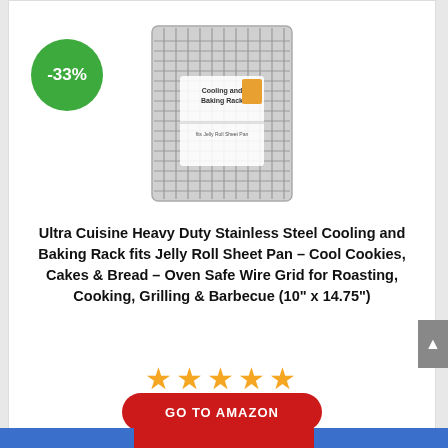[Figure (photo): Product photo of Ultra Cuisine stainless steel cooling and baking rack with packaging showing food items]
-33%
Ultra Cuisine Heavy Duty Stainless Steel Cooling and Baking Rack fits Jelly Roll Sheet Pan – Cool Cookies, Cakes & Bread – Oven Safe Wire Grid for Roasting, Cooking, Grilling & Barbecue (10" x 14.75")
★★★★★
$11.89–$16.98 $22.58
GO TO AMAZON